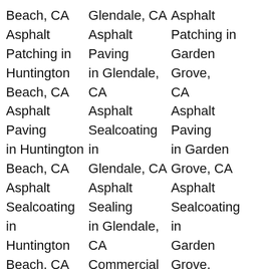Beach, CA Asphalt Patching in Huntington Beach, CA Asphalt Paving in Huntington Beach, CA Asphalt Sealcoating in Huntington Beach, CA Asphalt Sealing in Huntington Beach, CA
Glendale, CA Asphalt Paving in Glendale, CA Asphalt Sealcoating in Glendale, CA Asphalt Sealing in Glendale, CA Commercial Paving in Glendale, CA Concrete Contractor in Glendale, CA Crack Filling in
Asphalt Patching in Garden Grove, CA Asphalt Paving in Garden Grove, CA Asphalt Sealcoating in Garden Grove, CA Asphalt Sealing in Garden Grove, CA Commercial